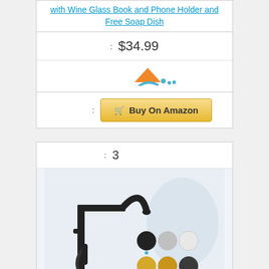with Wine Glass Book and Phone Holder and Free Soap Dish
Price: $34.99
[Figure (logo): Amazon logo / smile icon in orange/blue]
Buy On Amazon button
3
[Figure (photo): Black freestanding bathtub faucet with hand shower and color options (matte black, chrome, brushed nickel, gold, brushed gold, oil rubbed bronze)]